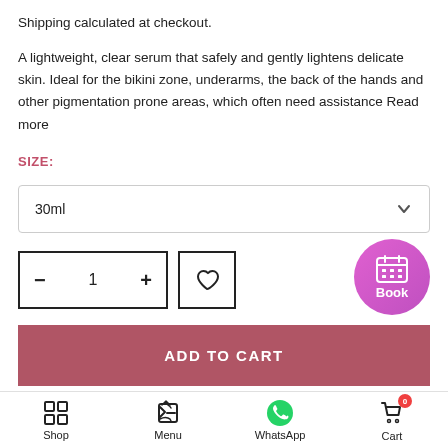Shipping calculated at checkout.
A lightweight, clear serum that safely and gently lightens delicate skin. Ideal for the bikini zone, underarms, the back of the hands and other pigmentation prone areas, which often need assistance Read more
SIZE:
30ml
— 1 +
ADD TO CART
Shop  Menu  WhatsApp  Cart